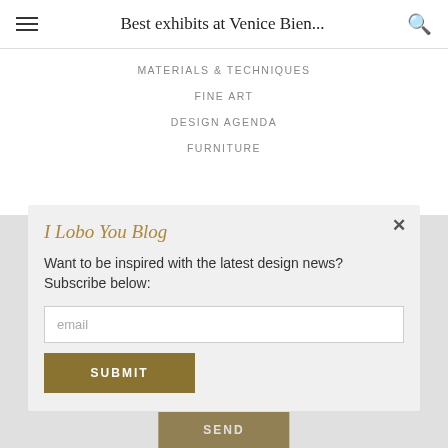Best exhibits at Venice Bien...
MATERIALS & TECHNIQUES
FINE ART
DESIGN AGENDA
FURNITURE
I Lobo You Blog
Want to be inspired with the latest design news? Subscribe below:
email
SUBMIT
SEND